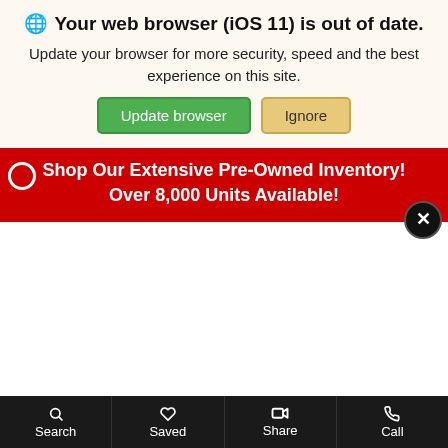Your web browser (iOS 11) is out of date.
Update your browser for more security, speed and the best experience on this site.
Update browser | Ignore
Shop Our Extensive Pre-Owned Inventory! Over 8,000 Units Available!
Search | Saved | Share | Call